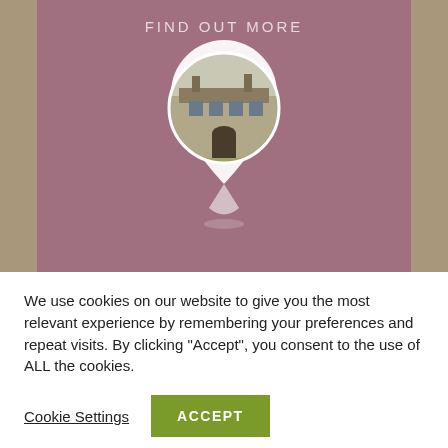FIND OUT MORE
[Figure (illustration): A map location pin icon with a circular photo of a historic stone manor house inside it, on a mauve/dusty rose background]
We use cookies on our website to give you the most relevant experience by remembering your preferences and repeat visits. By clicking “Accept”, you consent to the use of ALL the cookies.
Cookie Settings  ACCEPT